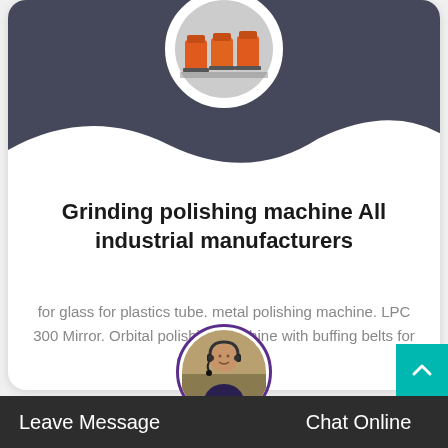[Figure (photo): Circular photo of orange/red industrial grinding machines in a factory setting, shown at the top center of a dark blue-gray card header]
Grinding polishing machine All industrial manufacturers
for glass for plastics tube. metal polishing machine. LPC 300 Mirror. Orbital polishing machine with buffing belts for grinding and...
[Figure (photo): Circular avatar photo of a woman with a headset on, industrial background, shown at the bottom center above the chat bar, with purple border]
Leave Message
Chat Online